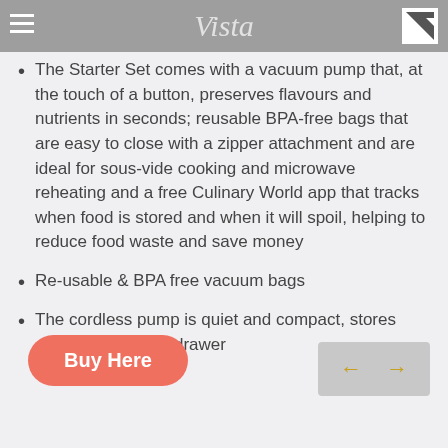Vista
The Starter Set comes with a vacuum pump that, at the touch of a button, preserves flavours and nutrients in seconds; reusable BPA-free bags that are easy to close with a zipper attachment and are ideal for sous-vide cooking and microwave reheating and a free Culinary World app that tracks when food is stored and when it will spoil, helping to reduce food waste and save money
Re-usable & BPA free vacuum bags
The cordless pump is quiet and compact, stores easily in a kitchen drawer